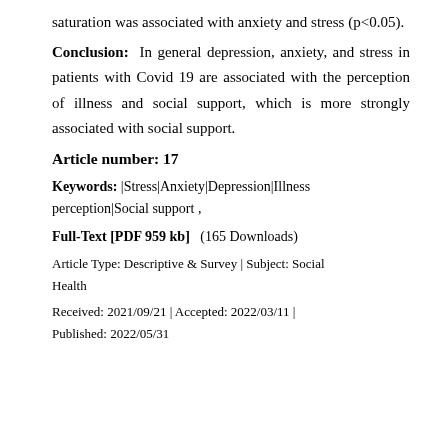saturation was associated with anxiety and stress (p<0.05).
Conclusion: In general depression, anxiety, and stress in patients with Covid 19 are associated with the perception of illness and social support, which is more strongly associated with social support.
Article number: 17
Keywords: |Stress|Anxiety|Depression|Illness perception|Social support ,
Full-Text [PDF 959 kb]  (165 Downloads)
Article Type: Descriptive & Survey | Subject: Social Health
Received: 2021/09/21 | Accepted: 2022/03/11 | Published: 2022/05/31